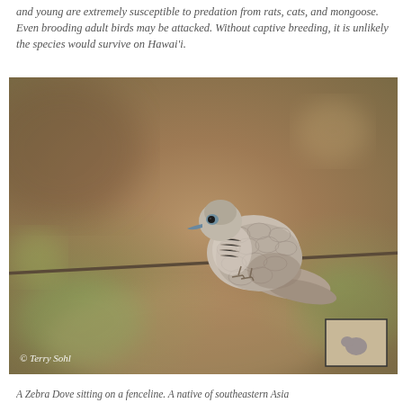and young are extremely susceptible to predation from rats, cats, and mongoose. Even brooding adult birds may be attacked. Without captive breeding, it is unlikely the species would survive on Hawai'i.
[Figure (photo): A Zebra Dove (Geopelia striata) perched on a wire fenceline, photographed against a blurred warm brown and green bokeh background. The bird is shown in profile facing left, displaying its characteristic scaled/barred feather pattern in shades of grey and brown. A photographer credit '© Terry Sohl' appears in the bottom-left corner of the image. A small rectangular inset box appears in the bottom-right corner.]
A Zebra Dove sitting on a fenceline. A native of southeastern Asia